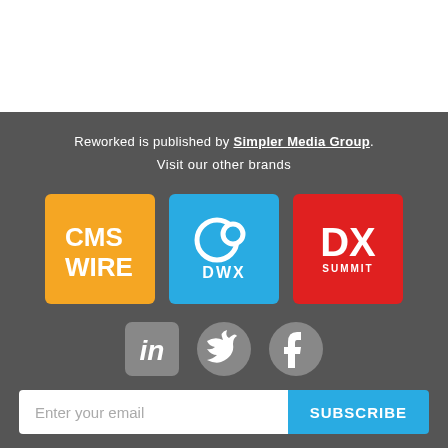Reworked is published by Simpler Media Group.
Visit our other brands
[Figure (logo): CMS Wire logo on orange background]
[Figure (logo): DWX logo on blue background]
[Figure (logo): DX Summit logo on red background]
[Figure (logo): LinkedIn, Twitter, Facebook social media icons]
Enter your email
SUBSCRIBE